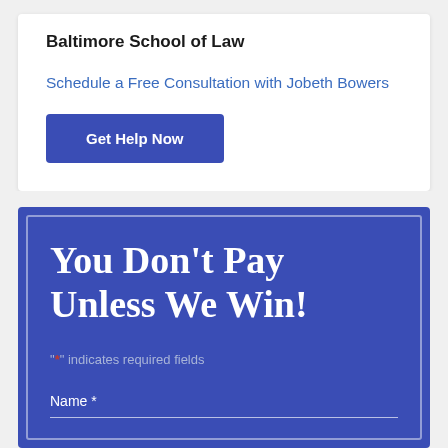Baltimore School of Law
Schedule a Free Consultation with Jobeth Bowers
Get Help Now
You Don't Pay Unless We Win!
"*" indicates required fields
Name *